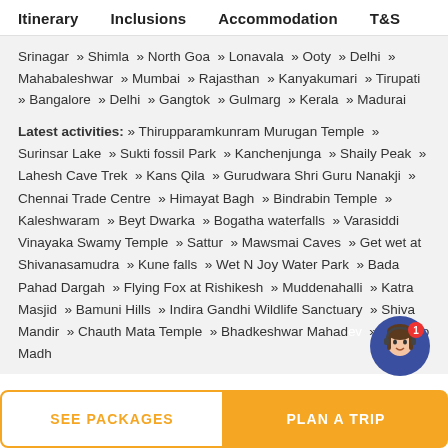Itinerary   Inclusions   Accommodation   T&
Srinagar » Shimla » North Goa » Lonavala » Ooty » Delhi » Mahabaleshwar » Mumbai » Rajasthan » Kanyakumari » Tirupati » Bangalore » Delhi » Gangtok » Gulmarg » Kerala » Madurai
Latest activities: » Thirupparamkunram Murugan Temple » Surinsar Lake » Sukti fossil Park » Kanchenjunga » Shaily Peak » Lahesh Cave Trek » Kans Qila » Gurudwara Shri Guru Nanakji » Chennai Trade Centre » Himayat Bagh » Bindrabin Temple » Kaleshwaram » Beyt Dwarka » Bogatha waterfalls » Varasiddi Vinayaka Swamy Temple » Sattur » Mawsmai Caves » Get wet at Shivanasamudra » Kune falls » Wet N Joy Water Park » Bada Pahad Dargah » Flying Fox at Rishikesh » Muddenahalli » Katra Masjid » Bamuni Hills » Indira Gandhi Wildlife Sanctuary » Shiva Mandir » Chauth Mata Temple » Bhadkeshwar Mahadev » Mata no Madh